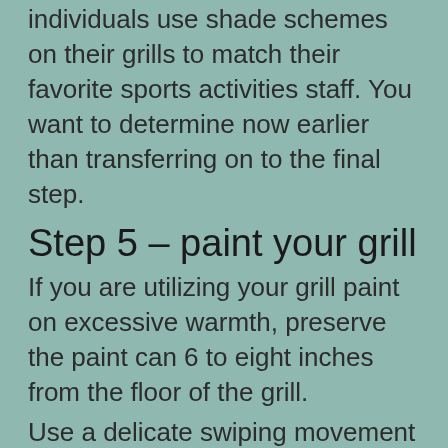individuals use shade schemes on their grills to match their favorite sports activities staff. You want to determine now earlier than transferring on to the final step.
Step 5 – paint your grill
If you are utilizing your grill paint on excessive warmth, preserve the paint can 6 to eight inches from the floor of the grill.
Use a delicate swiping movement from one aspect of the grill to the opposite (with some overlap). You need that first coat of paint to be skinny so don't be concerned if one thing pops off.
With this grill paint, you most likely will not